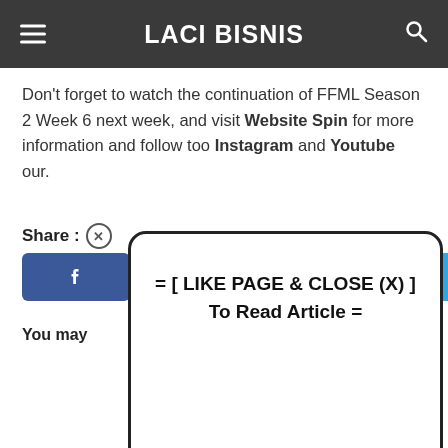LACI BISNIS
Don't forget to watch the continuation of FFML Season 2 Week 6 next week, and visit Website Spin for more information and follow too Instagram and Youtube our.
Share :
[Figure (screenshot): Modal popup overlay showing text: = [ LIKE PAGE & CLOSE (X) ] To Read Article =]
You may
Plus-minu